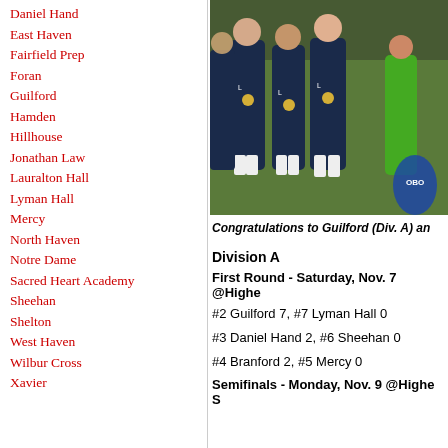Daniel Hand
East Haven
Fairfield Prep
Foran
Guilford
Hamden
Hillhouse
Jonathan Law
Lauralton Hall
Lyman Hall
Mercy
North Haven
Notre Dame
Sacred Heart Academy
Sheehan
Shelton
West Haven
Wilbur Cross
Xavier
[Figure (photo): Group photo of female field hockey players in dark uniforms with medals, gathered together on a grass field]
Congratulations to Guilford (Div. A) an...
Division A
First Round - Saturday, Nov. 7 @Highe...
#2 Guilford 7, #7 Lyman Hall 0
#3 Daniel Hand 2, #6 Sheehan 0
#4 Branford 2, #5 Mercy 0
Semifinals - Monday, Nov. 9 @Highe S...